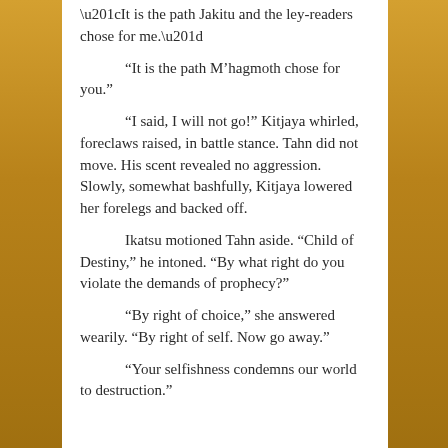“It is the path Jakitu and the ley-readers chose for me.”
“It is the path M’hagmoth chose for you.”
“I said, I will not go!” Kitjaya whirled, foreclaws raised, in battle stance. Tahn did not move. His scent revealed no aggression. Slowly, somewhat bashfully, Kitjaya lowered her forelegs and backed off.
Ikatsu motioned Tahn aside. “Child of Destiny,” he intoned. “By what right do you violate the demands of prophecy?”
“By right of choice,” she answered wearily. “By right of self. Now go away.”
“Your selfishness condemns our world to destruction.”